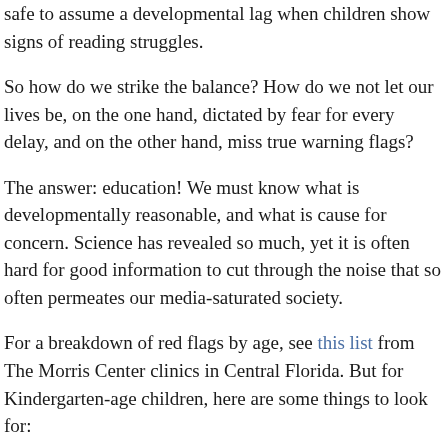safe to assume a developmental lag when children show signs of reading struggles.
So how do we strike the balance? How do we not let our lives be, on the one hand, dictated by fear for every delay, and on the other hand, miss true warning flags?
The answer: education! We must know what is developmentally reasonable, and what is cause for concern. Science has revealed so much, yet it is often hard for good information to cut through the noise that so often permeates our media-saturated society.
For a breakdown of red flags by age, see this list from The Morris Center clinics in Central Florida. But for Kindergarten-age children, here are some things to look for: